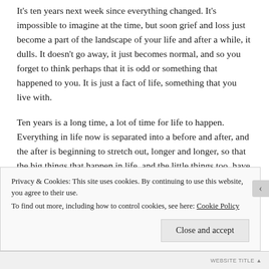It's ten years next week since everything changed. It's impossible to imagine at the time, but soon grief and loss just become a part of the landscape of your life and after a while, it dulls. It doesn't go away, it just becomes normal, and so you forget to think perhaps that it is odd or something that happened to you. It is just a fact of life, something that you live with.
Ten years is a long time, a lot of time for life to happen. Everything in life now is separated into a before and after, and the after is beginning to stretch out, longer and longer, so that the big things that happen in life, and the little things too, have become uncountable. Adult life has been this huge 'after' and we have never known any
Privacy & Cookies: This site uses cookies. By continuing to use this website, you agree to their use.
To find out more, including how to control cookies, see here: Cookie Policy
Close and accept